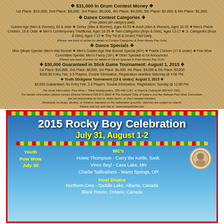❖ $31,000 in Drum Contest Money ❖
1st Place: $10,000, 2nd Place: $8,000, 3rd Place: $6,000, 4th Place: $4,000, 5th Place: $2,000 & 6th Place: $1,000.
❖ Dance Contest Categories ❖
(Four places per category paid)
Golden Age (Men & Women), 60 & older ❖ Senior (Men & Women), Ages 40-59 ❖ Adult (Men & Women), Ages 18-39 ❖ Men's Prairie Chicken, 18 & Older ❖ Men's Contemporary Traditional, Ages 18-39 ❖ Teen Categories (Boys & Girls), Ages 13-17 ❖ Jr. Categories (Boys & Girls), Ages 7-12 ❖ Tiny Tot (6 & Under) Paid Daily.
(Please see back of poster for details of Contest Categories & Prize Money Pay Outs)
❖ Dance Specials ❖
Miss Qilupe Special: Men's War Bonnet ❖ Men's Golden Age War Bonnet Special (80+) ❖ Prairie Chicken (17 & under) ❖ Pow Wow Committee Special: Men's Fancy (18+) ❖ Other Specials to be Announced.
(Please see back of poster for details of Dance Specials & Prize Money Pay Outs)
❖ $30,000 Guaranteed in Stick Game Tournament: August 1, 2015 ❖
1st Place: $10,000, 2nd Place: $8,000, 3rd Place: $6,000, 4th Place: $4,000 & 5th Place: $2,000
$100.00 Entry Fee, 3-5 Players, Double Elimination, Registration deadline Saturday @ 4:00 PM.
❖ Youth Stickgame Tournament (13 & Under): August 2, 2015 ❖
$3,000 Guaranteed, No Entry Fee, 3-5 Players, Double Elimination, Registration: Sunday @ 12:00 PM.
For more information: Pow Wow – Tribal Headquarters, 509-445-1147, or Francie Cullooyah 509-447-7261.
For vendor information please contact Shantel Whitford 509-671-3600 ❖ The Kalispel Tribe of Indians and the Kalispel Pow Wow Committee, are not responsible for lost or stolen items, or short handed travelers.
Absolutely no drugs, alcohol, or firearms tolerated on the celebration grounds. Vehicles are subject to search.
Please visit our web site at: www.kalispeltribe.com
2015 Rocky Boy Celebration
July 31, August 1-2
Youth Pow Wow July 30
MC's
Howie Thompson - Carry the Kettle, Sask.
Vince Beyl - Cass Lake, MN
Charlie Tailfeathers - Warm Springs, OR
Host Drums
Northern Cree - Saddle Lake, Alberta, Canada
Black Raven, Ontario, Canada